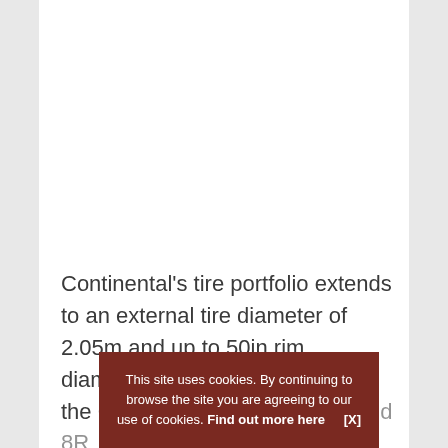Continental's tire portfolio extends to an external tire diameter of 2.05m and up to 50in rim diameter. John Deere will utilize the Continental tires on its 7R and 8R large t… large t…
This site uses cookies. By continuing to browse the site you are agreeing to our use of cookies. Find out more here   [X]